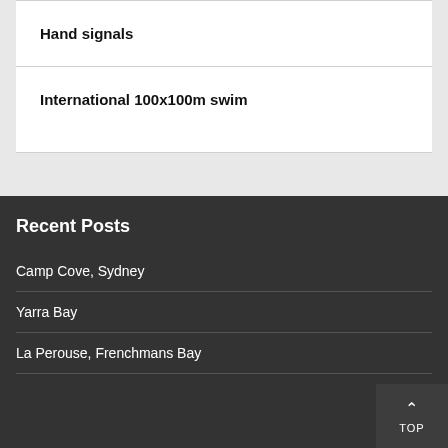Hand signals
International 100x100m swim
Recent Posts
Camp Cove, Sydney
Yarra Bay
La Perouse, Frenchmans Bay
TOP